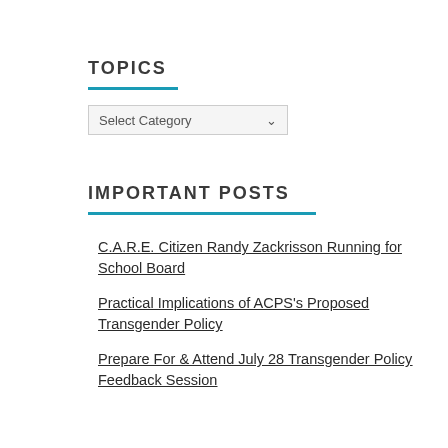TOPICS
Select Category
IMPORTANT POSTS
C.A.R.E. Citizen Randy Zackrisson Running for School Board
Practical Implications of ACPS's Proposed Transgender Policy
Prepare For & Attend July 28 Transgender Policy Feedback Session